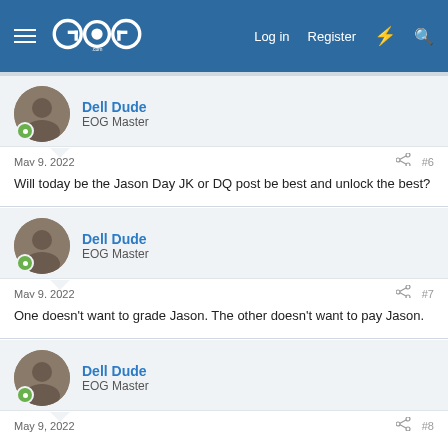[Figure (screenshot): EOG forum header with hamburger menu, GOG logo, Log in, Register, and search icons on a blue background]
Dell Dude
EOG Master
May 9, 2022
#6
Will today be the Jason Day JK or DQ post be best and unlock the best?
Dell Dude
EOG Master
May 9, 2022
#7
One doesn't want to grade Jason. The other doesn't want to pay Jason.
Dell Dude
EOG Master
May 9, 2022
#8